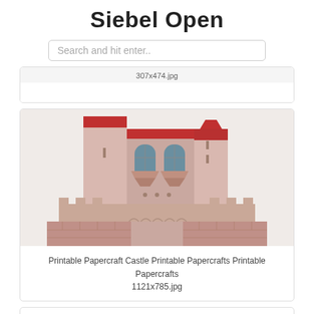Siebel Open
Search and hit enter..
307x474.jpg
[Figure (illustration): Illustration of a printable papercraft castle showing pink/salmon colored towers with red roofs, arched windows, and brick walls.]
Printable Papercraft Castle Printable Papercrafts Printable Papercrafts
1121x785.jpg